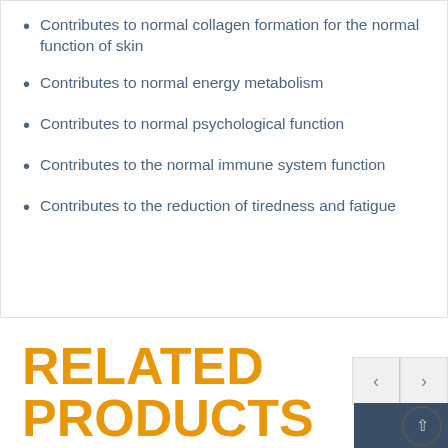Contributes to normal collagen formation for the normal function of skin
Contributes to normal energy metabolism
Contributes to normal psychological function
Contributes to the normal immune system function
Contributes to the reduction of tiredness and fatigue
RELATED PRODUCTS